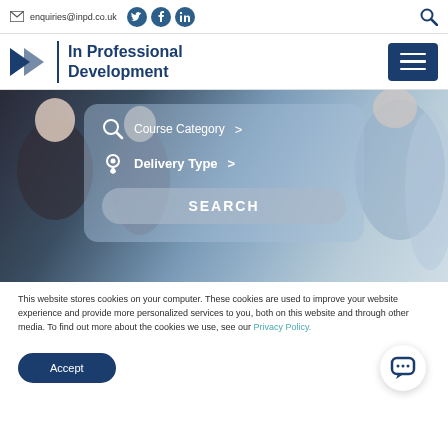enquiries@inpd.co.uk
[Figure (logo): In Professional Development logo with blue arrow and vertical bar]
[Figure (photo): Hero banner showing group of people at a training/conference session with search overlay for Course Category and Delivery Type]
This website stores cookies on your computer. These cookies are used to improve your website experience and provide more personalized services to you, both on this website and through other media. To find out more about the cookies we use, see our Privacy Policy.
Accept